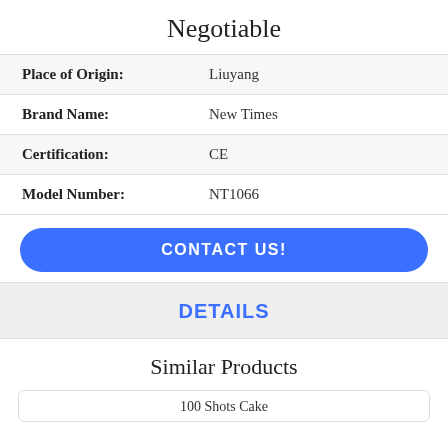Negotiable
| Place of Origin: | Liuyang |
| Brand Name: | New Times |
| Certification: | CE |
| Model Number: | NT1066 |
CONTACT US!
DETAILS
Similar Products
100 Shots Cake